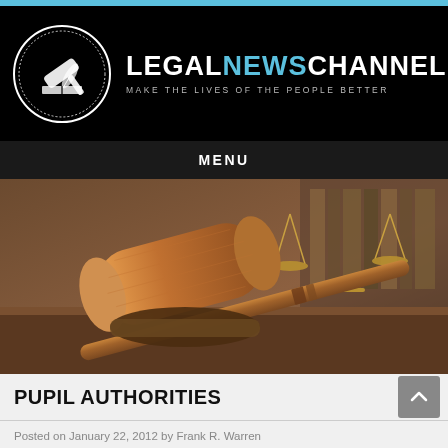[Figure (logo): Legal News Channel logo with gavel and scales icon in a circle on black background, with text LEGALNEWSCHANNEL and tagline MAKE THE LIVES OF THE PEOPLE BETTER]
MENU
[Figure (photo): Photo of a wooden judge's gavel resting on a surface with brass scales of justice in the background]
PUPIL AUTHORITIES
Posted on January 22, 2012 by Frank R. Warren